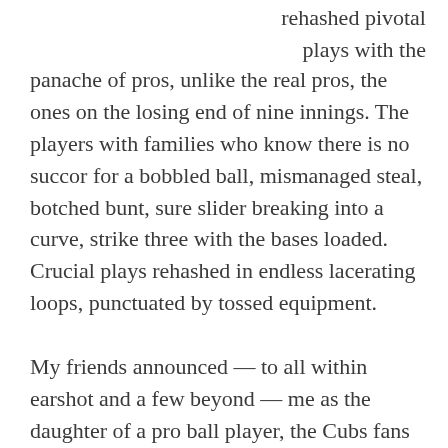rehashed pivotal plays with the panache of pros, unlike the real pros, the ones on the losing end of nine innings. The players with families who know there is no succor for a bobbled ball, mismanaged steal, botched bunt, sure slider breaking into a curve, strike three with the bases loaded. Crucial plays rehashed in endless lacerating loops, punctuated by tossed equipment.

My friends announced — to all within earshot and a few beyond — me as the daughter of a pro ball player, the Cubs fans inhaling with excitement, exhaling disappointment when they failed to recognize his name. I obliged with stories of my father's legendary teammates, accepted shots from strangers enamored by